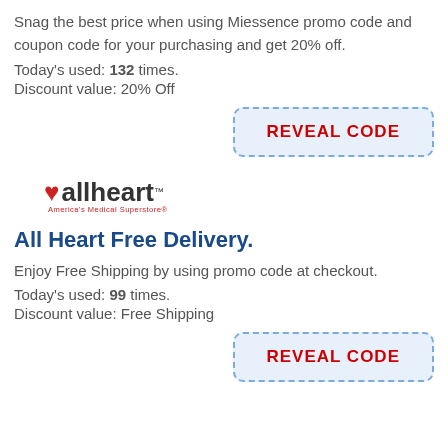Snag the best price when using Miessence promo code and coupon code for your purchasing and get 20% off.
Today's used: 132 times.
Discount value: 20% Off
[Figure (other): REVEAL CODE button with dashed blue border and red text on light blue background]
[Figure (logo): allheart logo - red heart icon with allheart text and tagline America's Medical Superstore]
All Heart Free Delivery.
Enjoy Free Shipping by using promo code at checkout.
Today's used: 99 times.
Discount value: Free Shipping
[Figure (other): REVEAL CODE button with dashed blue border and red text on light blue background]